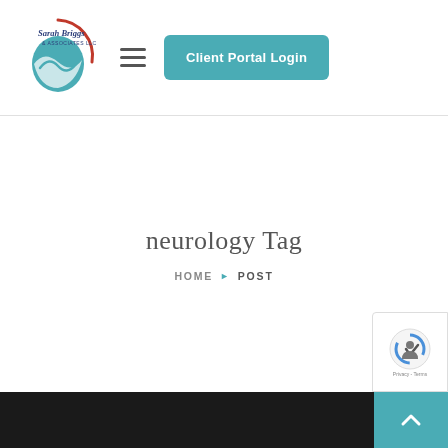[Figure (logo): Sarah Briggs & Associates LLC circular logo with teal wave design and script text]
Client Portal Login
neurology Tag
HOME ▶ POST